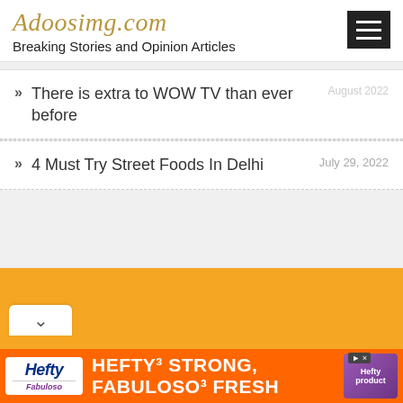Adoosimg.com — Breaking Stories and Opinion Articles
There is extra to WOW TV than ever before — August 2022
4 Must Try Street Foods In Delhi — July 29, 2022
[Figure (other): Orange advertisement placeholder box]
[Figure (other): Hefty / Fabuloso advertisement banner: HEFTY STRONG, FABULOSO FRESH]